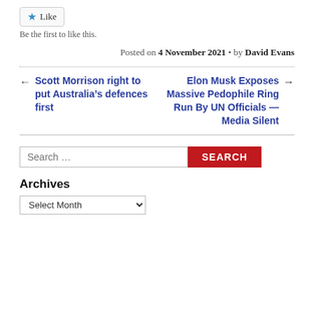[Figure (other): Like button with blue star icon and 'Like' text inside a rounded border box]
Be the first to like this.
Posted on 4 November 2021 • by David Evans
← Scott Morrison right to put Australia's defences first
Elon Musk Exposes Massive Pedophile Ring Run By UN Officials — Media Silent →
Search ...
Archives
Select Month